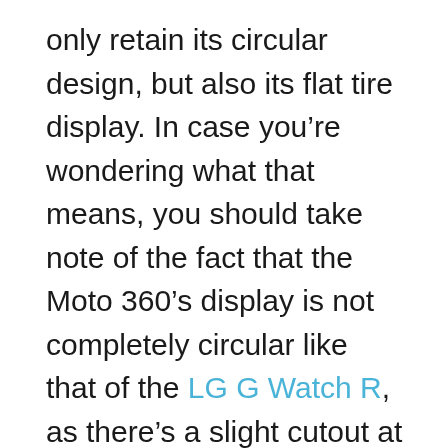only retain its circular design, but also its flat tire display. In case you're wondering what that means, you should take note of the fact that the Moto 360's display is not completely circular like that of the LG G Watch R, as there's a slight cutout at the bottom for fitting the ambient light sensor.
There's no word on when the second-gen Moto 360 variants will actually be unveiled by Motorola. We'll have more on them when additional details are out.